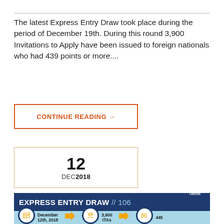The latest Express Entry Draw took place during the period of December 19th. During this round 3,900 Invitations to Apply have been issued to foreign nationals who had 439 points or more....
CONTINUE READING →
12
DEC 2018
[Figure (infographic): Express Entry Draw #106 infographic showing: December 12th, 2018; 3,900 ITAs; 445. Includes Hellissimo Law Group logo.]